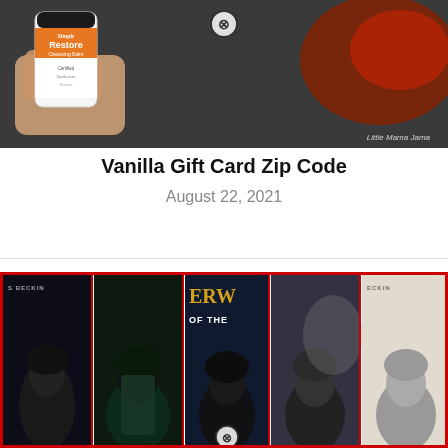[Figure (photo): Hand holding a small bottle of Simply Restore Cleansing Balm product, dark background with red accent. Close icon circle visible. Watermark reads 'Little Mama Jama'.]
Vanilla Gift Card Zip Code
August 22, 2021
[Figure (photo): Collage of five movie poster panels for Underworld series films, with red border. Shows dark-clad figures. Center panel shows text 'ERW OF THE'. Close icon visible on center panel.]